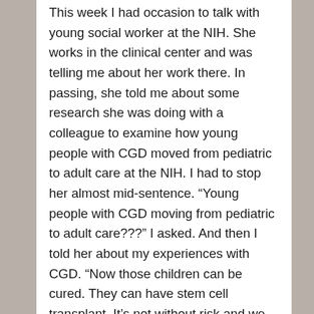This week I had occasion to talk with young social worker at the NIH. She works in the clinical center and was telling me about her work there. In passing, she told me about some research she was doing with a colleague to examine how young people with CGD moved from pediatric to adult care at the NIH. I had to stop her almost mid-sentence. “Young people with CGD moving from pediatric to adult care???” I asked. And then I told her about my experiences with CGD. “Now those children can be cured. They can have stem cell transplant. It’s not without risk and we still lose kids. But when it works, the disease is gone.” Even as I write this I have goose-bumps and tears. Joy and gratitude in knowing that the dogged persistence of physicians and scientists has produced a cure for something that was hopeless 25 years ago. And to see that the same cannot be said of